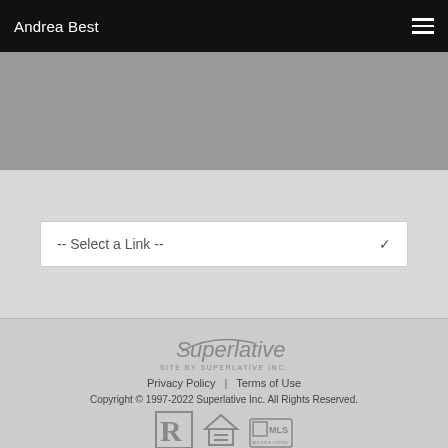Andrea Best
[Figure (other): Gray hero/banner area below the navigation header]
-- Select a Link --
[Figure (logo): Superlative logo with tagline SITE BY SUPERLATIVE INC.]
Privacy Policy  |  Terms of Use
Copyright © 1997-2022 Superlative Inc. All Rights Reserved.
[Figure (logo): Three certification badges: REALTOR, Equal Housing Opportunity, MLS]